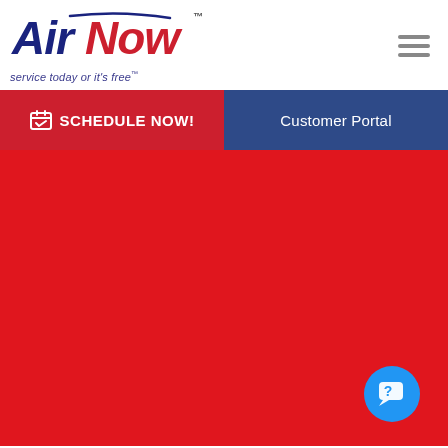[Figure (logo): AirNow logo with tagline 'service today or it's free']
[Figure (other): Hamburger menu icon (three horizontal bars)]
[Figure (other): SCHEDULE NOW! red button with calendar icon]
[Figure (other): Customer Portal dark blue button]
[Figure (other): Large red background area with a blue chat/help button in bottom right corner]